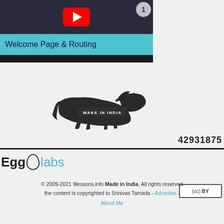[Figure (screenshot): YouTube video thumbnail showing a play button on dark background with a cyan/blue bar below reading 'Welcome Page & Routing']
[Figure (logo): Make in India logo - black lion silhouette with 'MAKE IN INDIA' text]
42931875
[Figure (logo): Egg labs logo with stylized egg oval between 'Egg' and 'labs' text]
© 2009-2021 9lessons.info Made in India. All rights reserved the content is copyrighted to Srinivas Tamada - Advertise - About Me